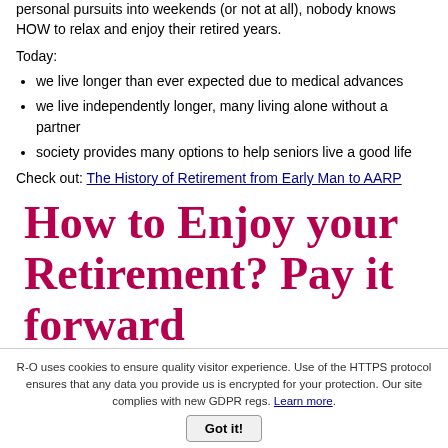personal pursuits into weekends (or not at all), nobody knows HOW to relax and enjoy their retired years.
Today:
we live longer than ever expected due to medical advances
we live independently longer, many living alone without a partner
society provides many options to help seniors live a good life
Check out: The History of Retirement from Early Man to AARP
How to Enjoy your Retirement? Pay it forward
Hey, as retirees, we've got the time, right?
R-O uses cookies to ensure quality visitor experience. Use of the HTTPS protocol ensures that any data you provide us is encrypted for your protection. Our site complies with new GDPR regs. Learn more.